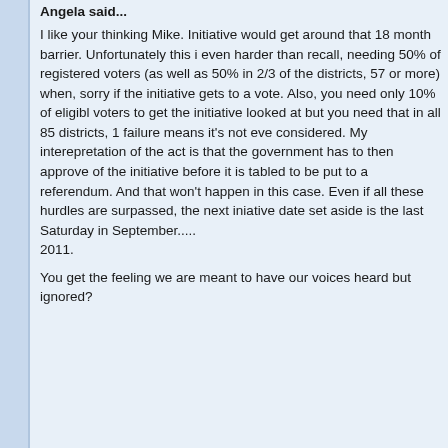Angela said...
I like your thinking Mike. Initiative would get around that 18 month barrier. Unfortunately this is even harder than recall, needing 50% of registered voters (as well as 50% in 2/3 of the districts, 57 or more) when, sorry if the initiative gets to a vote. Also, you need only 10% of eligible voters to get the initiative looked at but you need that in all 85 districts, 1 failure means it's not even considered. My interepretation of the act is that the government has to then approve of the initiative before it is tabled to be put to a referendum. And that won't happen in this case. Even if all these hurdles are surpassed, the next iniative date set aside is the last Saturday in September.....
2011.
You get the feeling we are meant to have our voices heard but ignored?